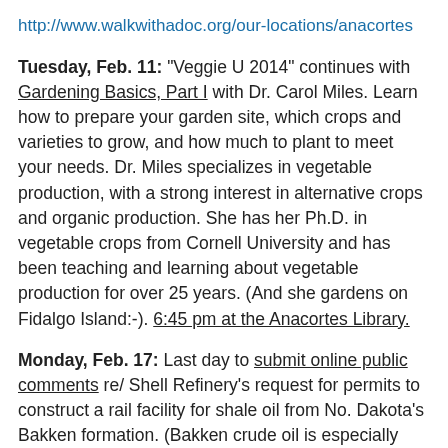http://www.walkwithadoc.org/our-locations/anacortes
Tuesday, Feb. 11: "Veggie U 2014" continues with Gardening Basics, Part I with Dr. Carol Miles. Learn how to prepare your garden site, which crops and varieties to grow, and how much to plant to meet your needs. Dr. Miles specializes in vegetable production, with a strong interest in alternative crops and organic production. She has her Ph.D. in vegetable crops from Cornell University and has been teaching and learning about vegetable production for over 25 years. (And she gardens on Fidalgo Island:-). 6:45 pm at the Anacortes Library.
Monday, Feb. 17: Last day to submit online public comments re/ Shell Refinery's request for permits to construct a rail facility for shale oil from No. Dakota's Bakken formation. (Bakken crude oil is especially hazardous because of fracking chemicals.  The DOT-111 general service tank cars that are commonly used for transporting crude oil are the least safe...